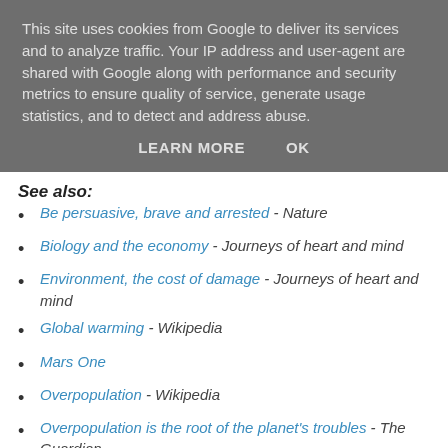This site uses cookies from Google to deliver its services and to analyze traffic. Your IP address and user-agent are shared with Google along with performance and security metrics to ensure quality of service, generate usage statistics, and to detect and address abuse.
LEARN MORE   OK
See also:
Be persuasive, brave and arrested - Nature
Biology and the economy - Journeys of heart and mind
Environment, the cost of damage - Journeys of heart and mind
Global warming - Wikipedia
Mars One
Overpopulation - Wikipedia
Overpopulation is the root of the planet's troubles - The Guardian